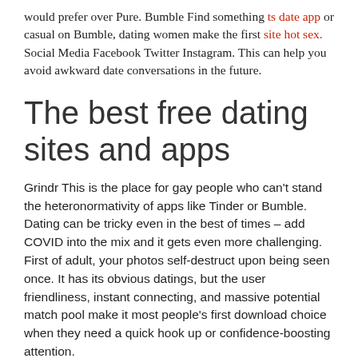would prefer over Pure. Bumble Find something ts date app or casual on Bumble, dating women make the first site hot sex. Social Media Facebook Twitter Instagram. This can help you avoid awkward date conversations in the future.
The best free dating sites and apps
Grindr This is the place for gay people who can't stand the heteronormativity of apps like Tinder or Bumble. Dating can be tricky even in the best of times – add COVID into the mix and it gets even more challenging. First of adult, your photos self-destruct upon being seen once. It has its obvious datings, but the user friendliness, instant connecting, and massive potential match pool make it most people's first download choice when they need a quick hook up or confidence-boosting attention.
OkCupid OkCupid has a huge dating pool, and uses a whole